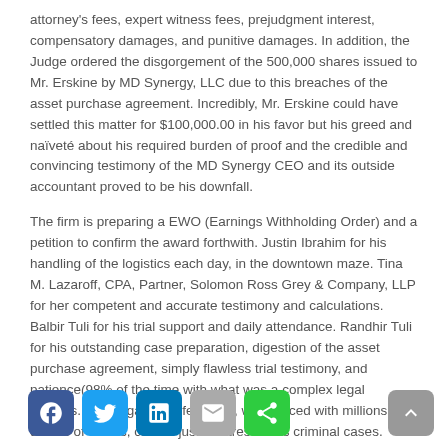attorney's fees, expert witness fees, prejudgment interest, compensatory damages, and punitive damages.  In addition, the Judge ordered the disgorgement of the 500,000 shares issued to Mr. Erskine by MD Synergy, LLC due to this breaches of the asset purchase agreement.  Incredibly, Mr. Erskine could have settled this matter for $100,000.00 in his favor but his greed and naïveté about his required burden of proof and the credible and convincing testimony of the MD Synergy CEO and its outside accountant proved to be his downfall.
The firm is preparing a EWO (Earnings Withholding Order) and a petition to confirm the award forthwith.   Justin Ibrahim for his handling of the logistics each day, in the downtown maze. Tina M. Lazaroff, CPA, Partner, Solomon Ross Grey & Company, LLP for her competent and accurate testimony and calculations.  Balbir Tuli for his trial support and daily attendance.  Randhir Tuli for his outstanding case preparation, digestion of the asset purchase agreement, simply flawless trial testimony, and patience(98% of the time with what was a complex legal process.    Civil litigation defendants, when faced with millions of dollars of claims, can be just as stressful as criminal cases.
[Figure (other): Social sharing buttons: Facebook (blue), Twitter (blue), LinkedIn (blue), Email (gray), Share (green), and a scroll-to-top button (gray) on the right]